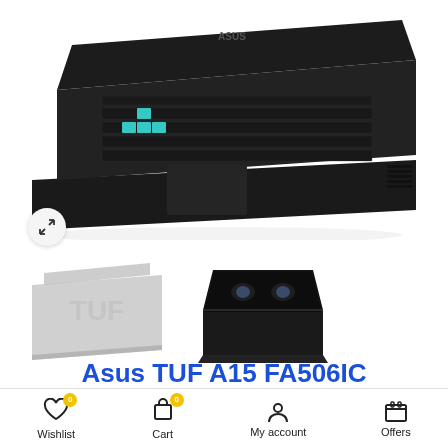[Figure (photo): ASUS TUF gaming laptop shown from an angle with keyboard and ASUS logo visible, dark/black color]
[Figure (photo): Two thumbnail images of the ASUS TUF A15 laptop - one showing the lid with TUF logo in light gray, another showing it open from front]
Asus TUF A15 FA506IC
Wishlist  Cart  My account  Offers